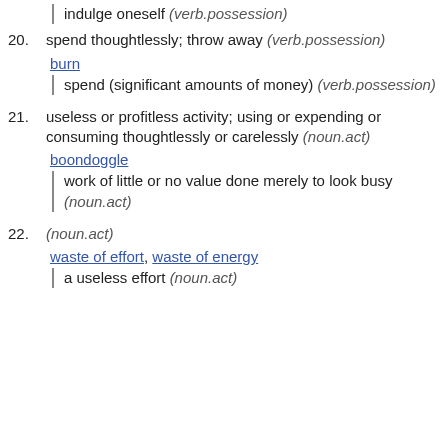indulge oneself (verb.possession)
20. spend thoughtlessly; throw away (verb.possession)
burn
spend (significant amounts of money) (verb.possession)
21. useless or profitless activity; using or expending or consuming thoughtlessly or carelessly (noun.act)
boondoggle
work of little or no value done merely to look busy (noun.act)
22. (noun.act)
waste of effort, waste of energy
a useless effort (noun.act)